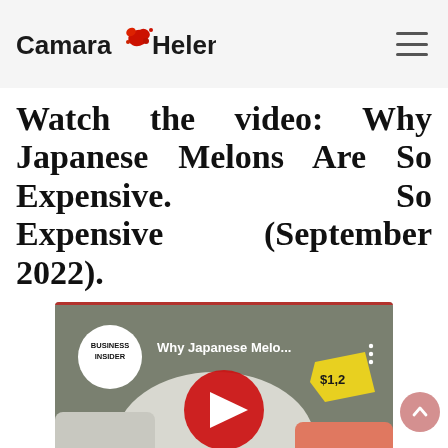Camara Heleno
Watch the video: Why Japanese Melons Are So Expensive.   So Expensive (September 2022).
[Figure (screenshot): YouTube video thumbnail showing 'Why Japanese Melo...' from Business Insider, featuring a melon with gloved hands and a price tag, with a red YouTube play button in the center. Text at bottom reads 'SO EXPENSIVE'.]